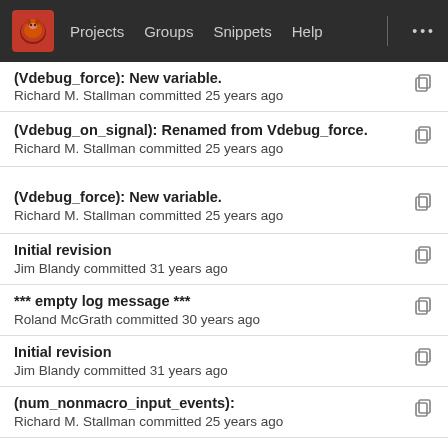Projects  Groups  Snippets  Help  ...
(Vdebug_force): New variable.
Richard M. Stallman committed 25 years ago
(Vdebug_on_signal): Renamed from Vdebug_force.
Richard M. Stallman committed 25 years ago
(Vdebug_force): New variable.
Richard M. Stallman committed 25 years ago
Initial revision
Jim Blandy committed 31 years ago
*** empty log message ***
Roland McGrath committed 30 years ago
Initial revision
Jim Blandy committed 31 years ago
(num_nonmacro_input_events):
Richard M. Stallman committed 25 years ago